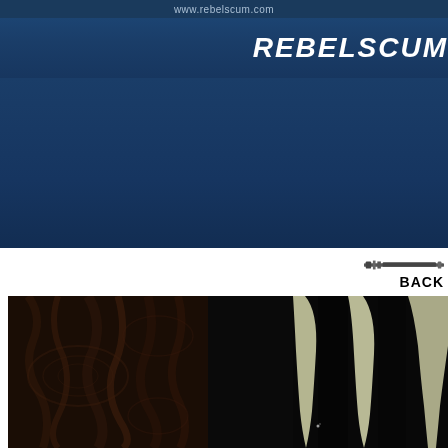www.rebelscum.com
REBELSCUM
[Figure (screenshot): Navigation/banner area of rebelscum.com website with dark blue background]
BACK
[Figure (photo): Dark fantasy/creature image showing textured bark or wood on left side and large pale fangs or teeth visible on the right side against a black background]